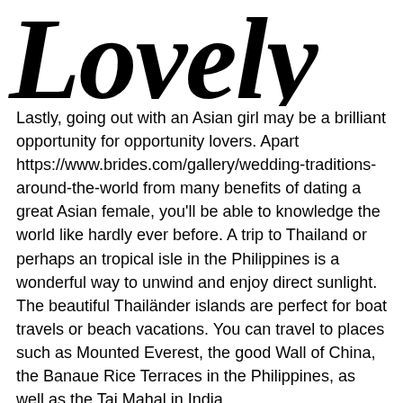Lovely
Lastly, going out with an Asian girl may be a brilliant opportunity for opportunity lovers. Apart https://www.brides.com/gallery/wedding-traditions-around-the-world from many benefits of dating a great Asian female, you'll be able to knowledge the world like hardly ever before. A trip to Thailand or perhaps an tropical isle in the Philippines is a wonderful way to unwind and enjoy direct sunlight. The beautiful Thailänder islands are perfect for boat travels or beach vacations. You can travel to places such as Mounted Everest, the good Wall of China, the Banaue Rice Terraces in the Philippines, as well as the Taj Mahal in India.
Another benefit of dating an Asian woman is the fact you can't be bothered by her family. She is going to most likely